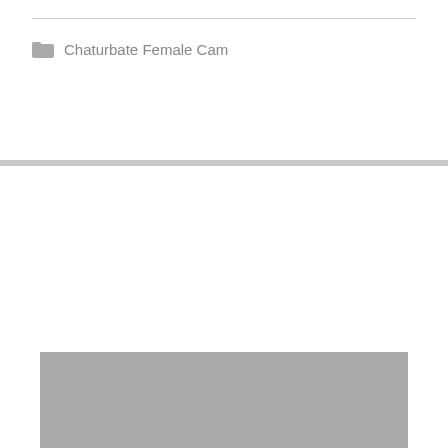Chaturbate Female Cam
[Figure (logo): Chaturbate logo on gray background]
Candy (onlyfans.com/candypurley)